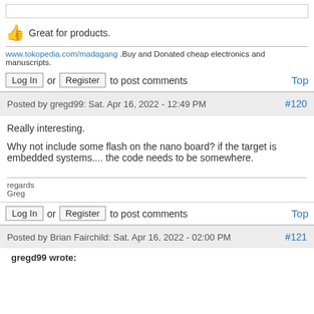👍 Great for products.
www.tokopedia.com/madagang .Buy and Donated cheap electronics and manuscripts.
Log In or Register to post comments   Top
Posted by gregd99: Sat. Apr 16, 2022 - 12:49 PM   #120
Really interesting.

Why not include some flash on the nano board? if the target is embedded systems.... the code needs to be somewhere.
regards
Greg
Log In or Register to post comments   Top
Posted by Brian Fairchild: Sat. Apr 16, 2022 - 02:00 PM   #121
gregd99 wrote: